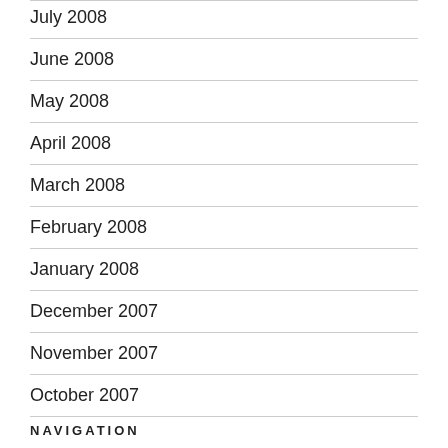July 2008
June 2008
May 2008
April 2008
March 2008
February 2008
January 2008
December 2007
November 2007
October 2007
NAVIGATION